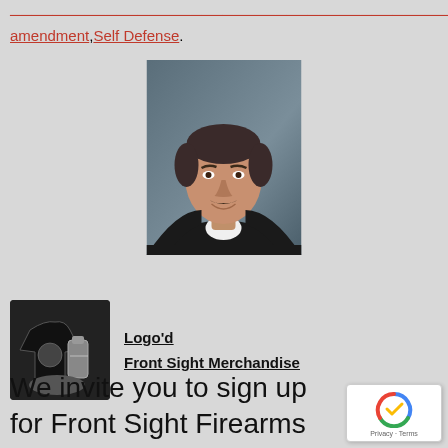amendment, Self Defense.
[Figure (photo): Portrait photo of a middle-aged man with dark hair and mustache, wearing a black blazer and white shirt, professional headshot style]
[Figure (photo): Black and white thumbnail image of Front Sight merchandise including a t-shirt and bottle]
Logo'd
Front Sight Merchandise
We invite you to sign up for Front Sight Firearms Training Institute's and Dr.
[Figure (logo): reCAPTCHA badge with Privacy and Terms text]